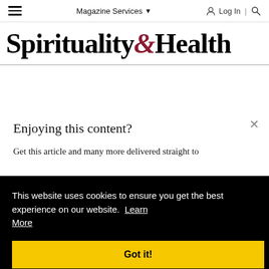Magazine Services ▾   Log In | 🔍
Spirituality & Health
Enjoying this content?
Get this article and many more delivered straight to
This website uses cookies to ensure you get the best experience on our website. Learn More
Got it!